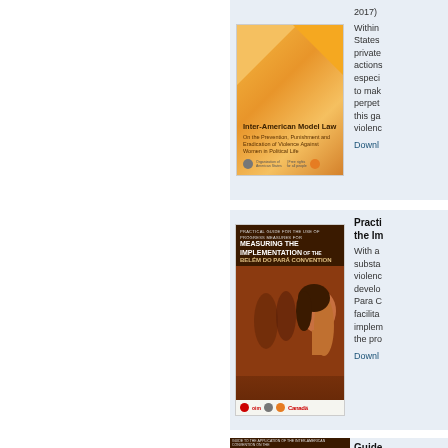[Figure (photo): Book cover: Inter-American Model Law on the Prevention, Punishment and Eradication of Violence Against Women in Political Life. Orange geometric design with OAS and UN Women logos.]
2017)

Within States private actions especi to make perpet this ga violenc

Downl
[Figure (photo): Book cover: Practical Guide for the Use of Progress Measures for Measuring the Implementation of the Belem do Para Convention. Shows a woman's face profile against a reddish-brown background with silhouettes. Logos of OIM, OAS, UN Women, and Canada at the bottom.]
Practi the Im

With a substa violenc develo Para C facilita implem the pro

Downl
[Figure (photo): Book cover (partial): Guide to the Application of the Inter-American Convention on the Prevention, Punishment and Eradication of Violence Against Women (Belem do Para). Dark reddish-brown cover.]
Guide Preve (Belér